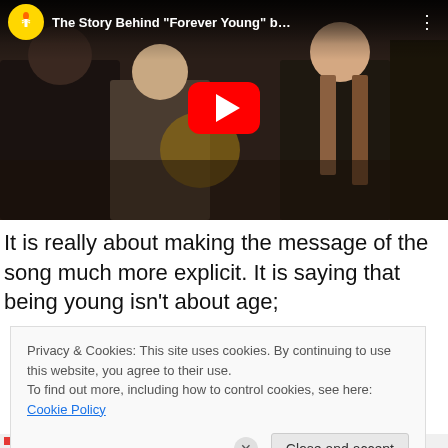[Figure (screenshot): YouTube video thumbnail showing people singing together, with Amnesty International logo, title 'The Story Behind "Forever Young" b…', red play button in center, dark background]
It is really about making the message of the song much more explicit. It is saying that being young isn't about age;
Privacy & Cookies: This site uses cookies. By continuing to use this website, you agree to their use.
To find out more, including how to control cookies, see here: Cookie Policy